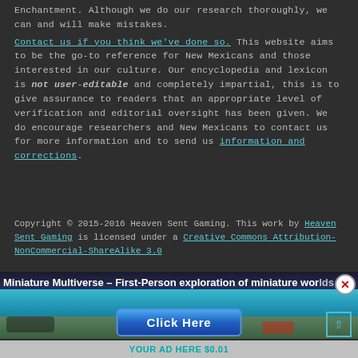Enchantment. Although we do our research thoroughly, we can and will make mistakes.
Contact us if you think we've done so. This website aims to be the go-to reference for New Mexicans and those interested in our culture. Our encyclopedia and lexicon is not user-editable and completely impartial, this is to give assurance to readers that an appropriate level of verification and editorial oversight has been given. We do encourage researchers and New Mexicans to contact us for more information and to send us information and corrections.
Copyright © 2015-2016 Heaven Sent Gaming. This work by Heaven Sent Gaming is licensed under a Creative Commons Attribution-NonCommercial-ShareAlike 3.0
[Figure (screenshot): Advertisement banner: 'Miniature Multiverse – First-Person exploration of miniature worlds' with a 'Click Here' button and an ocean/beach scene background. Close (X) button top right. Scroll-up button on right side.]
YOUR AD HERE $0.01